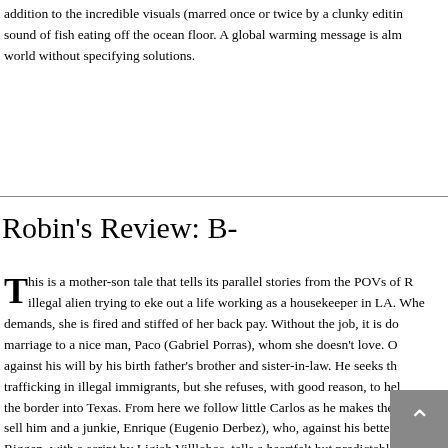addition to the incredible visuals (marred once or twice by a clunky editin sound of fish eating off the ocean floor. A global warming message is alm world without specifying solutions.
Robin's Review: B-
This is a mother-son tale that tells its parallel stories from the POVs of R illegal alien trying to eke out a life working as a housekeeper in LA. Whe demands, she is fired and stiffed of her back pay. Without the job, it is do marriage to a nice man, Paco (Gabriel Porras), whom she doesn't love. O against his will by his birth father's brother and sister-in-law. He seeks th trafficking in illegal immigrants, but she refuses, with good reason, to hel the border into Texas. From here we follow little Carlos as he makes the sell him and a junkie, Enrique (Eugenio Derbez), who, against his better Riggen, with a script by Ligiah Villlobos, tells a heartfelt but predictable s personality of its characters. Young Adrian Alonso holds his own as the s